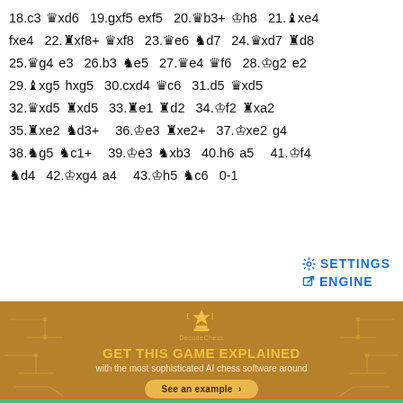18.c3 Qxd6 19.gxf5 exf5 20.Wb3+ Kh8 21.Bxe4 fxe4 22.Rxf8+ Wxf8 23.We6 Nd7 24.Wxd7 Rd8 25.Wg4 e3 26.b3 Ne5 27.We4 Wf6 28.Kg2 e2 29.Bxg5 hxg5 30.cxd4 Wc6 31.d5 Wxd5 32.Wxd5 Rxd5 33.Re1 Rd2 34.Kf2 Rxa2 35.Rxe2 Nd3+ 36.Ke3 Rxe2+ 37.Kxe2 g4 38.Ng5 Nc1+ 39.Ke3 Nxb3 40.h6 a5 41.Kf4 Nd4 42.Kxg4 a4 43.Kh5 Nc6 0-1
SETTINGS ENGINE
[Figure (illustration): DecodeChess advertisement banner with golden/brown background, chess crown logo, text 'GET THIS GAME EXPLAINED with the most sophisticated AI chess software around', and a 'See an example' button. Circuit board decorative patterns on left and right sides.]